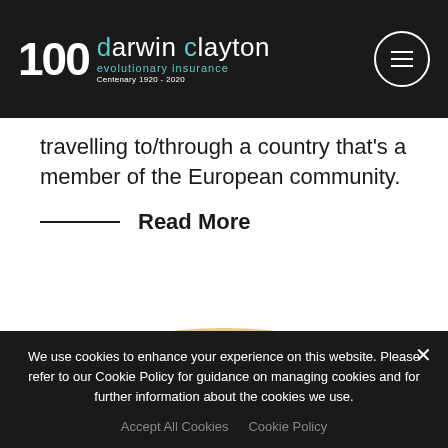100 darwin clayton evolutionary insurance | Centenary 1920 - 2020
travelling to/through a country that's a member of the European community.
Read More
[Figure (photo): Top portion of a straw/woven hat with orange band, partially visible]
We use cookies to enhance your experience on this website. Please refer to our Cookie Policy for guidance on managing cookies and for further information about the cookies we use.
Accept All Cookies   Cookie Policy